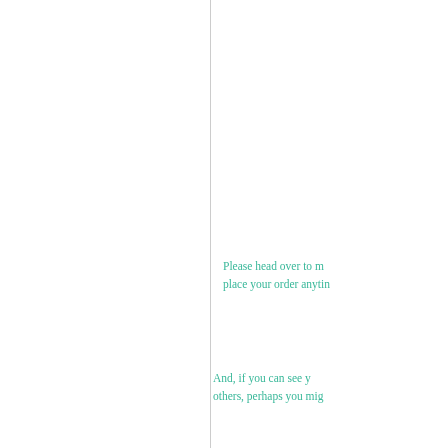Please head over to m place your order anytin
And, if you can see y others, perhaps you mig